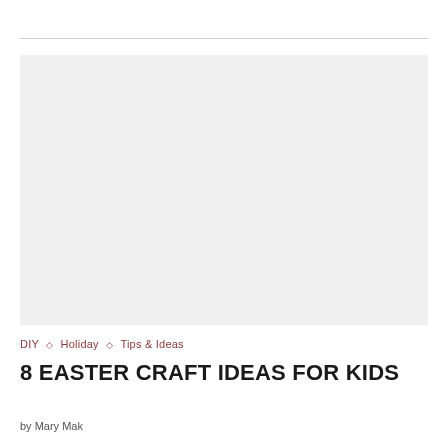[Figure (photo): Large rectangular placeholder image with light gray background, no visible content]
DIY ◇ Holiday ◇ Tips & Ideas
8 EASTER CRAFT IDEAS FOR KIDS
by Mary Maker